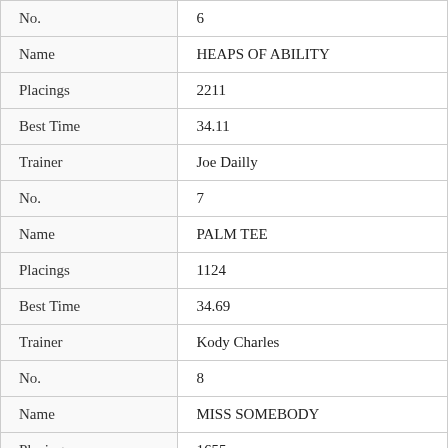| Field | Value |
| --- | --- |
| No. | 6 |
| Name | HEAPS OF ABILITY |
| Placings | 2211 |
| Best Time | 34.11 |
| Trainer | Joe Dailly |
| No. | 7 |
| Name | PALM TEE |
| Placings | 1124 |
| Best Time | 34.69 |
| Trainer | Kody Charles |
| No. | 8 |
| Name | MISS SOMEBODY |
| Placings | 1655 |
| Best Time | NBT |
| Trainer | Tim Mullany |
| No. | 9 |
| Name | MANDOLIN MONELLI |